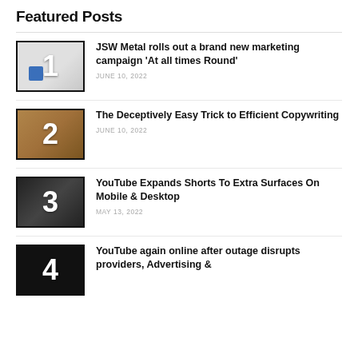Featured Posts
JSW Metal rolls out a brand new marketing campaign 'At all times Round' — JUNE 10, 2022
The Deceptively Easy Trick to Efficient Copywriting — JUNE 10, 2022
YouTube Expands Shorts To Extra Surfaces On Mobile & Desktop — MAY 13, 2022
YouTube again online after outage disrupts providers, Advertising &